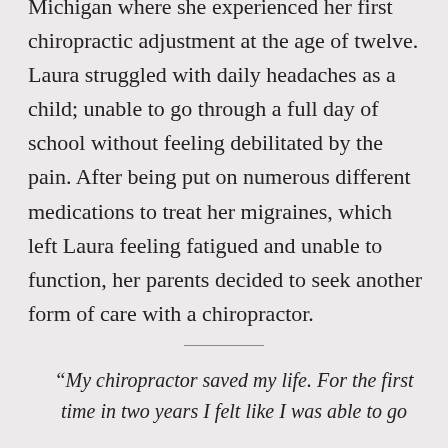Michigan where she experienced her first chiropractic adjustment at the age of twelve. Laura struggled with daily headaches as a child; unable to go through a full day of school without feeling debilitated by the pain. After being put on numerous different medications to treat her migraines, which left Laura feeling fatigued and unable to function, her parents decided to seek another form of care with a chiropractor.
“My chiropractor saved my life. For the first time in two years I felt like I was able to go